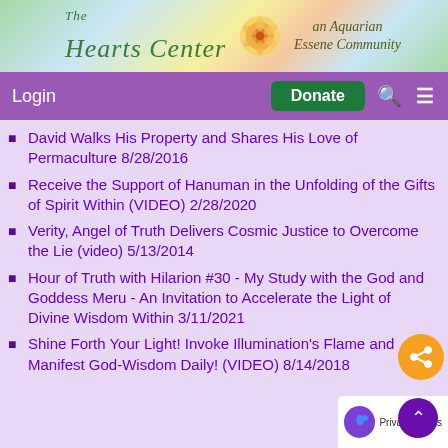[Figure (logo): The Hearts Center - an Aquarian Essene Community banner with colorful gradient background and rose flower icon]
Login   Donate   🔍   ≡
David Walks His Property and Shares His Love of Permaculture 8/28/2016
Receive the Support of Hanuman in the Unfolding of the Gifts of Spirit Within (VIDEO) 2/28/2020
Verity, Angel of Truth Delivers Cosmic Justice to Overcome the Lie (video) 5/13/2014
Hour of Truth with Hilarion #30 - My Study with the God and Goddess Meru - An Invitation to Accelerate the Light of Divine Wisdom Within 3/11/2021
Shine Forth Your Light! Invoke Illumination's Flame and Manifest God-Wisdom Daily! (VIDEO) 8/14/2018